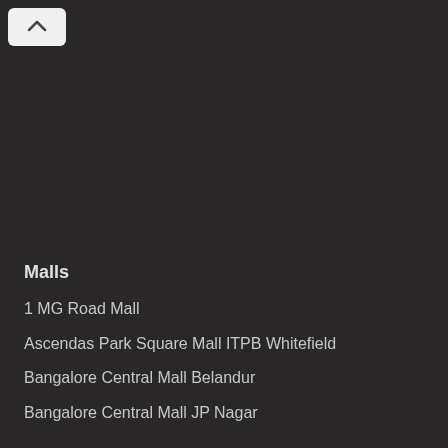[Figure (other): Chevron/up-arrow button (collapse control) in light gray rounded rectangle at top left]
Malls
1 MG Road Mall
Ascendas Park Square Mall ITPB Whitefield
Bangalore Central Mall Belandur
Bangalore Central Mall JP Nagar